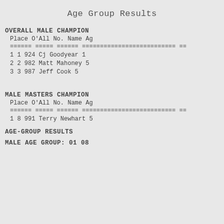Age Group Results
OVERALL MALE CHAMPION
| Place | O'All | No. | Name | Ag |
| --- | --- | --- | --- | --- |
| 1 | 1 | 924 | Cj Goodyear | 1 |
| 2 | 2 | 982 | Matt Mahoney | 5 |
| 3 | 3 | 987 | Jeff Cook | 5 |
MALE MASTERS CHAMPION
| Place | O'All | No. | Name | Ag |
| --- | --- | --- | --- | --- |
| 1 | 8 | 991 | Terry Newhart | 5 |
AGE-GROUP RESULTS
MALE AGE GROUP:  01  08